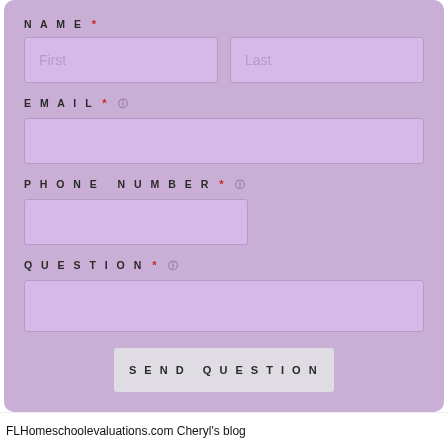[Figure (screenshot): A web form on a purple/lavender background with fields: NAME (First, Last), EMAIL, PHONE NUMBER, QUESTION, and a SEND QUESTION button.]
FLHomeschoolevaluations.com Cheryl's blog